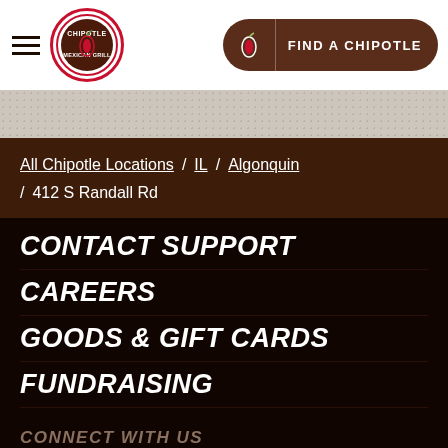Chipotle Mexican Grill — FIND A CHIPOTLE
[Figure (logo): Chipotle Mexican Grill circular logo with pepper motif]
All Chipotle Locations / IL / Algonquin / 412 S Randall Rd
CONTACT SUPPORT
CAREERS
GOODS & GIFT CARDS
FUNDRAISING
CONNECT WITH US